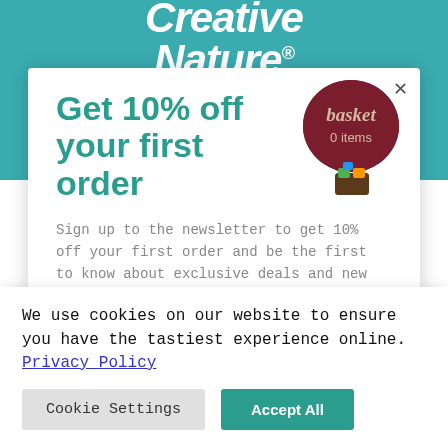[Figure (logo): Creative Nature logo in white italic text on teal background]
Get 10% off your first order
[Figure (illustration): Hot air balloon shaped basket icon with dark red balloon showing 'basket' text and '0 items' label]
Sign up to the newsletter to get 10% off your first order and be the first to know about exclusive deals and new releases. What's not to like?
Email address
We use cookies on our website to ensure you have the tastiest experience online. Privacy Policy
Cookie Settings
Accept All